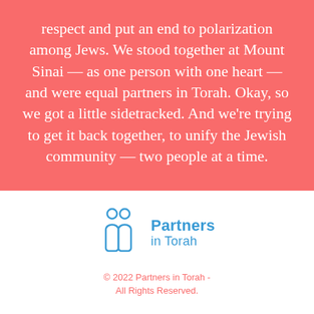respect and put an end to polarization among Jews. We stood together at Mount Sinai — as one person with one heart — and were equal partners in Torah. Okay, so we got a little sidetracked. And we're trying to get it back together, to unify the Jewish community — two people at a time.
[Figure (logo): Partners in Torah logo with two stylized figures and text 'Partners in Torah']
© 2022 Partners in Torah - All Rights Reserved.